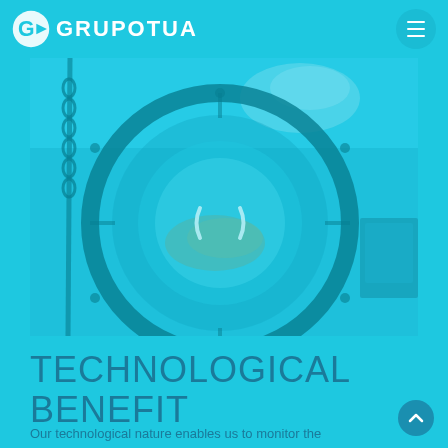GRUPOTUA
[Figure (photo): Aerial/top-down view of a large industrial turbine or circular mechanical structure submerged in or associated with blue-tinted water, seen through a cyan color overlay. A chain is visible on the left side, and debris or organic material is seen inside the circular structure.]
TECHNOLOGICAL BENEFIT
Our technological nature enables us to monitor the